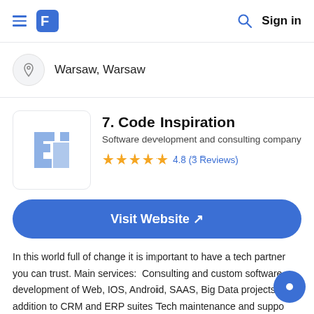≡ [logo] [search] Sign in
Warsaw, Warsaw
7. Code Inspiration
Software development and consulting company
4.8 (3 Reviews)
Visit Website ↗
In this world full of change it is important to have a tech partner you can trust. Main services:  Consulting and custom software development of Web, IOS, Android, SAAS, Big Data projects in addition to CRM and ERP suites Tech maintenance and support